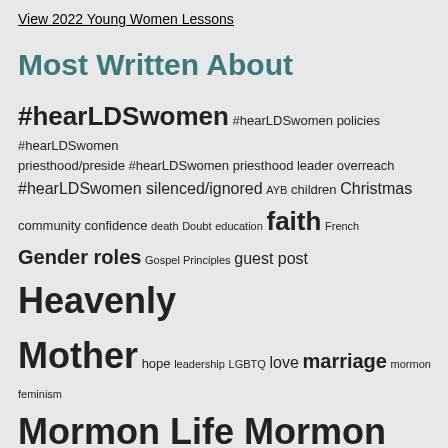View 2022 Young Women Lessons
Most Written About
[Figure (infographic): Tag cloud / word cloud showing topics most written about on a Mormon women's blog. Larger words appear more frequently. Topics include: #hearLDSwomen (largest), Mormon Life, Mormon women, priesthood, Relief Society, faith, Gender roles, Heavenly Mother, Poetry, temple, women, among others.]